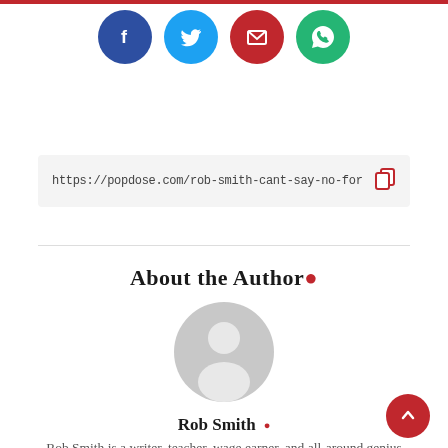[Figure (illustration): Four social media share buttons: Facebook (blue circle with f), Twitter (cyan circle with bird), Email (red circle with envelope), WhatsApp (green circle with phone)]
https://popdose.com/rob-smith-cant-say-no-for-the-
About the Author •
[Figure (photo): Default generic user avatar: grey circle with white silhouette of a person (head and shoulders)]
Rob Smith •
Rob Smith is a writer, teacher, wage earner, and all-around genius who spends most of his time holed up in his cluttered